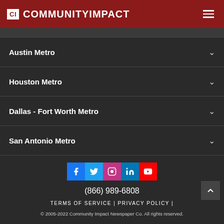CI COMMUNITYIMPACT
Austin Metro
Houston Metro
Dallas - Fort Worth Metro
San Antonio Metro
[Figure (infographic): Social media icons: Facebook, Twitter, Instagram, LinkedIn, YouTube]
(866) 989-6808
TERMS OF SERVICE | PRIVACY POLICY |
© 2005-2022 Community Impact Newspaper Co. All rights reserved.